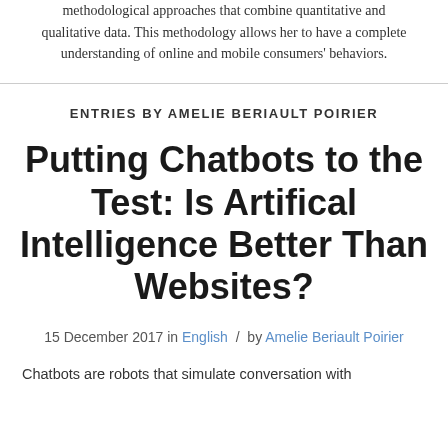methodological approaches that combine quantitative and qualitative data. This methodology allows her to have a complete understanding of online and mobile consumers' behaviors.
ENTRIES BY AMELIE BERIAULT POIRIER
Putting Chatbots to the Test: Is Artifical Intelligence Better Than Websites?
15 December 2017 in English / by Amelie Beriault Poirier
Chatbots are robots that simulate conversation with